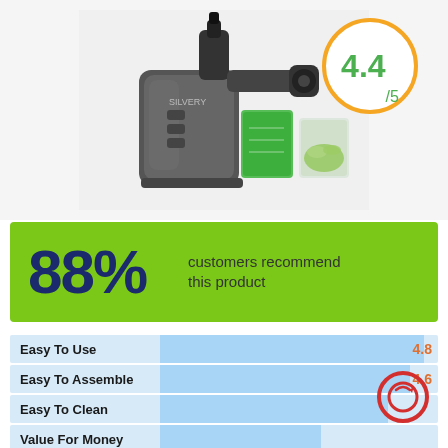[Figure (photo): A dark gray cold press slow juicer (SILVERY brand) with green juice in a measuring cup and a glass of pulp beside it. A 4.4/5 rating badge in an orange circle is overlaid top-right.]
88% customers recommend this product
| Attribute | Score |
| --- | --- |
| Easy To Use | 4.8 |
| Easy To Assemble | 4.6 |
| Easy To Clean |  |
| Value For Money |  |